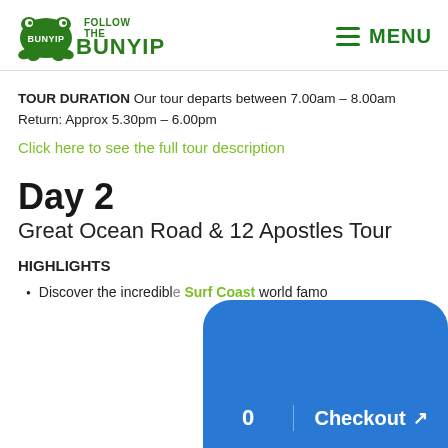BUNYIP FOLLOW THE BUNYIP | MENU
TOUR DURATION Our tour departs between 7.00am – 8.00am
Return: Approx 5.30pm – 6.00pm
Click here to see the full tour description
Day 2
Great Ocean Road & 12 Apostles Tour
HIGHLIGHTS
Discover the incredible Surf Coast world famo…